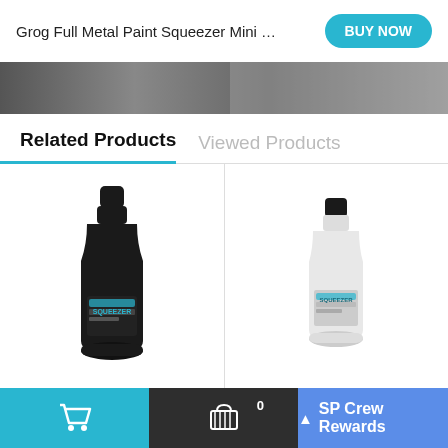Grog Full Metal Paint Squeezer Mini …
Related Products
Viewed Products
[Figure (photo): Black Grog Full Metal Paint Squeezer Mini bottle product image]
[Figure (photo): White Grog Full Metal Paint Squeezer Mini bottle product image]
SP Crew Rewards